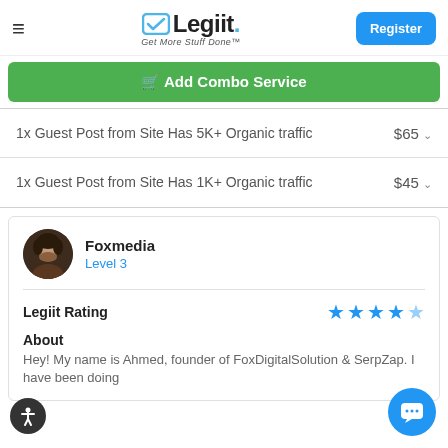Legiit — Get More Stuff Done
[Figure (screenshot): Green Add Combo Service button with cart icon]
1x Guest Post from Site Has 5K+ Organic traffic
$65
1x Guest Post from Site Has 1K+ Organic traffic
$45
Foxmedia
Level 3
Legiit Rating
About
Hey! My name is Ahmed, founder of FoxDigitalSolution & SerpZap. I have been doing